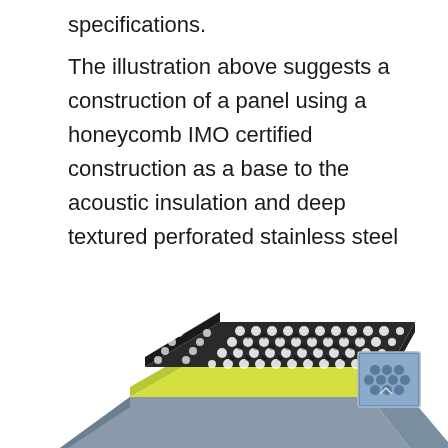specifications.
The illustration above suggests a construction of a panel using a honeycomb IMO certified construction as a base to the acoustic insulation and deep textured perforated stainless steel cover.
[Figure (illustration): A 3D cross-section illustration of a honeycomb panel showing layers: a grey metal frame/base, a yellow acoustic insulation layer, and a top layer of deep textured perforated stainless steel with a black-and-white patterned surface. A small inset square at the upper right shows a close-up of the honeycomb structure in blue-grey.]